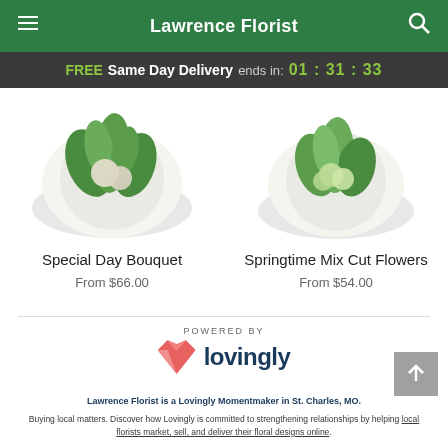Lawrence Florist
FREE Same Day Delivery ends in: 01 : 31 : 33
[Figure (photo): Floral bouquet product image - Special Day Bouquet with green foliage in round vase]
Special Day Bouquet
From $66.00
[Figure (photo): Floral arrangement product image - Springtime Mix Cut Flowers]
Springtime Mix Cut Flowers
From $54.00
[Figure (logo): Lovingly logo with pink/red origami heart icon and 'lovingly' text in navy blue]
POWERED BY
Lawrence Florist is a Lovingly Momentmaker in St. Charles, MO.
Buying local matters. Discover how Lovingly is committed to strengthening relationships by helping local florists market, sell, and deliver their floral designs online.